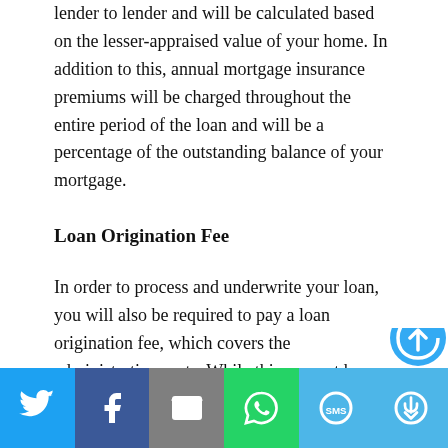lender to lender and will be calculated based on the lesser-appraised value of your home. In addition to this, annual mortgage insurance premiums will be charged throughout the entire period of the loan and will be a percentage of the outstanding balance of your mortgage.
Loan Origination Fee
In order to process and underwrite your loan, you will also be required to pay a loan origination fee, which covers the administrative costs. While this amount has come down in recent years, it is a sizeable lump sum
[Figure (other): Social sharing toolbar with Twitter, Facebook, Email, WhatsApp, SMS, and More buttons]